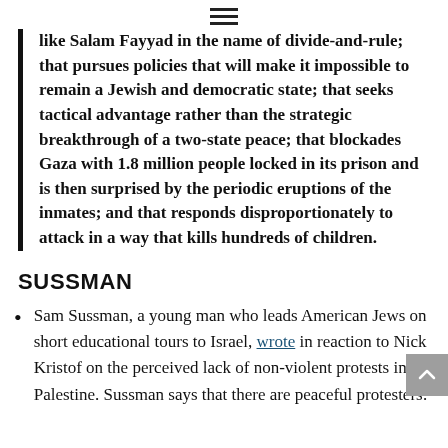≡
like Salam Fayyad in the name of divide-and-rule; that pursues policies that will make it impossible to remain a Jewish and democratic state; that seeks tactical advantage rather than the strategic breakthrough of a two-state peace; that blockades Gaza with 1.8 million people locked in its prison and is then surprised by the periodic eruptions of the inmates; and that responds disproportionately to attack in a way that kills hundreds of children.
SUSSMAN
Sam Sussman, a young man who leads American Jews on short educational tours to Israel, wrote in reaction to Nick Kristof on the perceived lack of non-violent protests in Palestine. Sussman says that there are peaceful protesters: